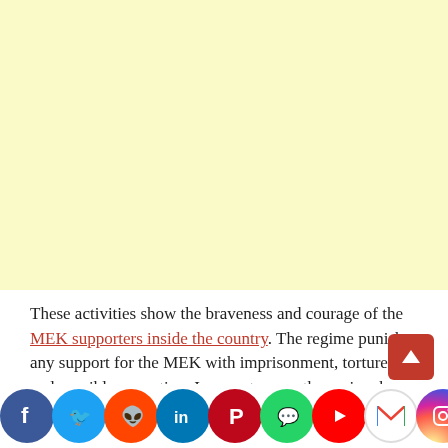[Figure (other): Light yellow advertisement placeholder area]
These activities show the braveness and courage of the MEK supporters inside the country. The regime punishes any support for the MEK with imprisonment, torture, and possibly execution. In recent years, the regime has mobilized all its propaganda machine to prevent the
[Figure (infographic): Social media sharing icons bar at the bottom: Facebook (blue), Twitter (light blue), Reddit (orange), LinkedIn (dark blue), Pinterest (red), WhatsApp (green), YouTube (red), Gmail (multicolor), Instagram (gradient), Messenger (blue gradient), Yahoo (purple). Also a red scroll-to-top button.]